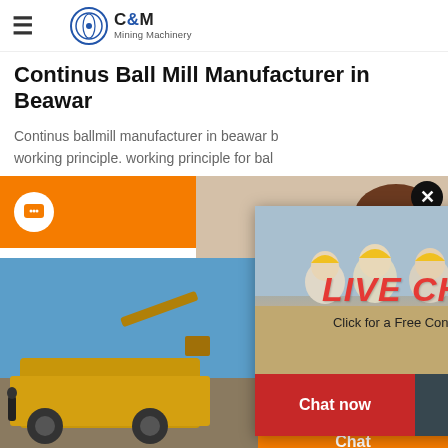C&M Mining Machinery
Continus Ball Mill Manufacturer in Beawar
Continus ballmill manufacturer in beawar b working principle. working principle for bal
[Figure (screenshot): Live Chat popup overlay with workers in hard hats, LIVE CHAT label in red italic, 'Click for a Free Consultation', Chat now (red) and Chat later (dark) buttons]
[Figure (photo): Customer service agent woman with headset smiling, right side]
[Figure (photo): Mining machinery / construction equipment scene with yellow bulldozer and blue sky]
ave any requests, ick here.
Quotation
Enquiry
drobilkalm@gmail.com
Chat